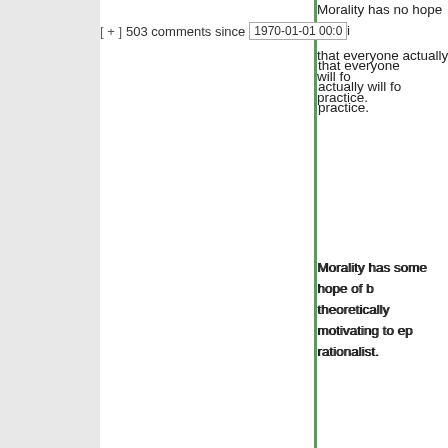[ + ]  503 comments since  1970-01-01 00:0
Morality has no hope of being... that everyone actually will fo... practice.
Morality has some hope of b... theoretically motivating to ep... rationalist.
I don’t know why you think a... relevant. An argument for et... egoism is not an argument f... amoralism.
Avoidance of contradiction is... only condition for rationality. Avoidance of bias is also ne... Your Caligula has massive e... bias, as did the original.